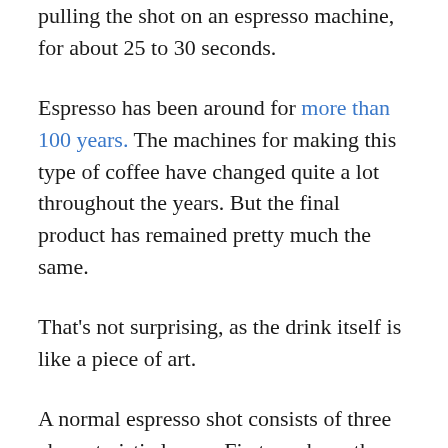pulling the shot on an espresso machine, for about 25 to 30 seconds.
Espresso has been around for more than 100 years. The machines for making this type of coffee have changed quite a lot throughout the years. But the final product has remained pretty much the same.
That's not surprising, as the drink itself is like a piece of art.
A normal espresso shot consists of three characteristic layers. First, we have the